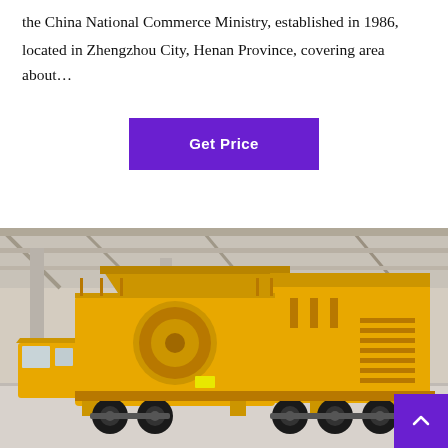the China National Commerce Ministry, established in 1986, located in Zhengzhou City, Henan Province, covering area about…
[Figure (other): Purple 'Get Price' call-to-action button]
[Figure (photo): Large yellow mobile jaw crusher / impact crusher machine on wheels, parked inside an industrial warehouse with steel structure roof. The machine is painted bright yellow and mounted on a wheeled trailer chassis.]